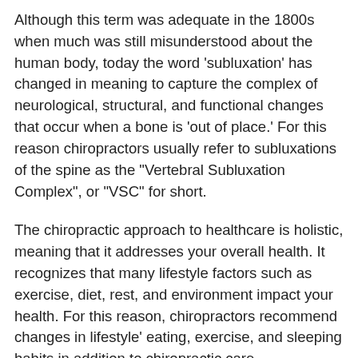Although this term was adequate in the 1800s when much was still misunderstood about the human body, today the word 'subluxation' has changed in meaning to capture the complex of neurological, structural, and functional changes that occur when a bone is 'out of place.' For this reason chiropractors usually refer to subluxations of the spine as the "Vertebral Subluxation Complex", or "VSC" for short.
The chiropractic approach to healthcare is holistic, meaning that it addresses your overall health. It recognizes that many lifestyle factors such as exercise, diet, rest, and environment impact your health. For this reason, chiropractors recommend changes in lifestyle' eating, exercise, and sleeping habits in addition to chiropractic care.
Chiropractic is so much more than simply a means of relieving pain. Ultimately, the goal of the chiropractic treatment is to restore the body to its natural state of